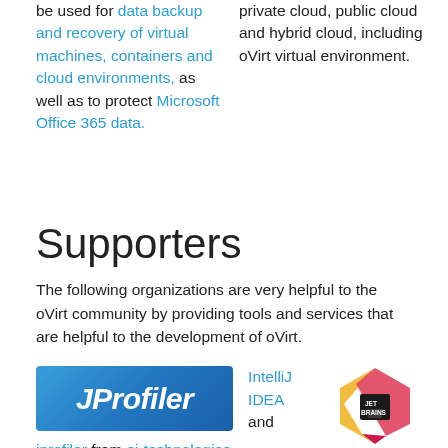be used for data backup and recovery of virtual machines, containers and cloud environments, as well as to protect Microsoft Office 365 data.
private cloud, public cloud and hybrid cloud, including oVirt virtual environment.
Supporters
The following organizations are very helpful to the oVirt community by providing tools and services that are helpful to the development of oVirt.
[Figure (logo): JProfiler logo — blue gradient rectangle with italic white bold text 'JProfiler']
jprofiler from ej-technologies GmbH
[Figure (logo): IntelliJ IDEA and JetBrains logo — diamond shaped icon in yellow, red and dark colors]
IntelliJ IDEA and